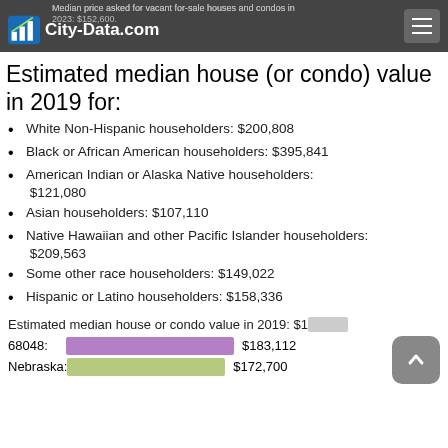City-Data.com
Median price asked for vacant for-sale houses and condos in 2023: $152,600.
Estimated median house (or condo) value in 2019 for:
White Non-Hispanic householders: $200,808
Black or African American householders: $395,841
American Indian or Alaska Native householders: $121,080
Asian householders: $107,110
Native Hawaiian and other Pacific Islander householders: $209,563
Some other race householders: $149,022
Hispanic or Latino householders: $158,336
Estimated median house or condo value in 2019: $183,112
[Figure (bar-chart): Estimated median house or condo value in 2019]